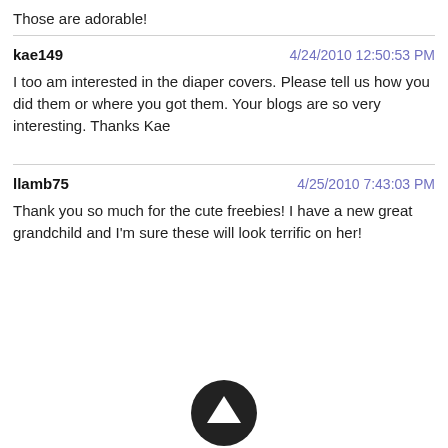Those are adorable!
kae149
4/24/2010 12:50:53 PM
I too am interested in the diaper covers.  Please tell us how you did them or where you got them.  Your blogs are so very interesting.  Thanks  Kae
llamb75
4/25/2010 7:43:03 PM
Thank you so much for the cute freebies!  I have a new great grandchild and I'm sure these will look terrific on her!